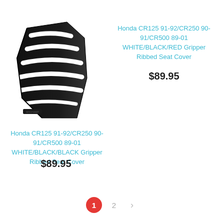[Figure (photo): Black motorcycle seat cover with white horizontal ribbed stripes, shown at an angle]
Honda CR125 91-92/CR250 90-91/CR500 89-01 WHITE/BLACK/RED Gripper Ribbed Seat Cover
$89.95
Honda CR125 91-92/CR250 90-91/CR500 89-01 WHITE/BLACK/BLACK Gripper Ribbed Seat Cover
$89.95
1  2  >